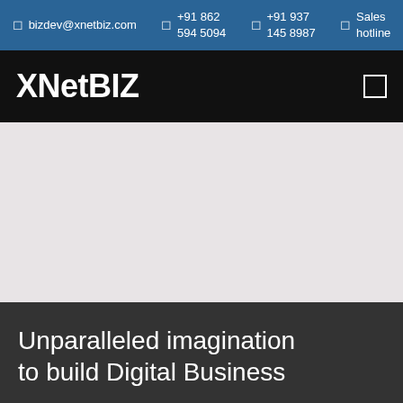bizdev@xnetbiz.com  +91 862 594 5094  +91 937 145 8987  Sales hotline
XNetBIZ
[Figure (other): Light gray hero image area, empty/blank placeholder]
Unparalleled imagination to build Digital Business